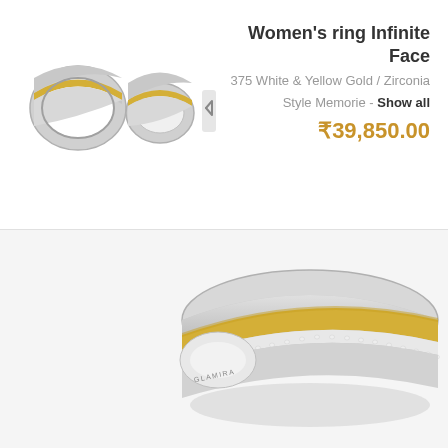[Figure (photo): Two small thumbnail images of a women's ring with white and yellow gold showing the ring from different angles, with a next arrow button]
Women's ring Infinite Face
375 White & Yellow Gold / Zirconia
Style Memorie - Show all
₹39,850.00
[Figure (photo): Large close-up photo of a women's ring Infinite Face in 375 white and yellow gold with zirconia stones, showing the GLAMIRA brand engraving inside the ring. The ring has a wide band with yellow gold stripe and a center row of small diamonds/zirconia stones.]